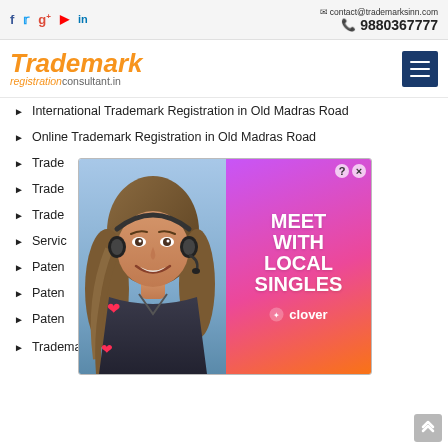contact@trademarksinn.com | 9880367777
Trademark registrationconsultant.in
International Trademark Registration in Old Madras Road
Online Trademark Registration in Old Madras Road
Trade[mark Registration...]
Trade[mark Registration...]
Trade[mark Registration...]
Servic[e Mark Registration...]
Paten[t Registration...]
Paten[t Registration...]
Paten[t Registration...]
Trademark Registration Companies in Old Madras Road
[Figure (photo): Advertisement overlay showing a smiling woman with headset on left, and 'MEET WITH LOCAL SINGLES' text by Clover on purple-to-orange gradient background on right]